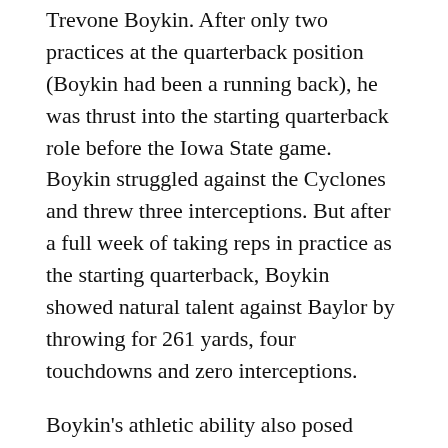Trevone Boykin. After only two practices at the quarterback position (Boykin had been a running back), he was thrust into the starting quarterback role before the Iowa State game. Boykin struggled against the Cyclones and threw three interceptions. But after a full week of taking reps in practice as the starting quarterback, Boykin showed natural talent against Baylor by throwing for 261 yards, four touchdowns and zero interceptions.
Boykin's athletic ability also posed problems for the Bears defense.
Baylor has only faced one top-25 defense all season in TCU. In the Bears' remaining seven games, four teams boast a top-25 defense (Iowa State, Oklahoma, Kansas State and Texas Tech).